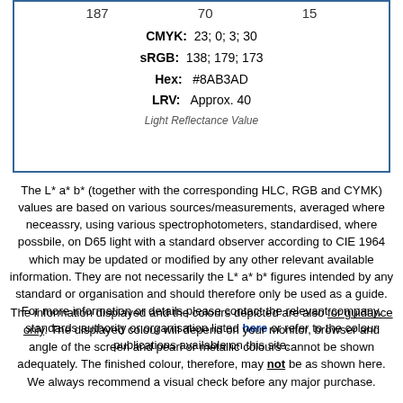| 187 | 70 | 15 |
| --- | --- | --- |
CMYK: 23; 0; 3; 30
sRGB: 138; 179; 173
Hex: #8AB3AD
LRV: Approx. 40
Light Reflectance Value
The L* a* b* (together with the corresponding HLC, RGB and CYMK) values are based on various sources/measurements, averaged where neceassry, using various spectrophotometers, standardised, where possbile, on D65 light with a standard observer according to CIE 1964 which may be updated or modified by any other relevant available information. They are not necessarily the L* a* b* figures intended by any standard or organisation and should therefore only be used as a guide. For more information or details please contact the relevant company, standards authority or organisation listed here or refer to the colour publications available on this site.
The information displayed and the colours depicted are also for guidance only. The displayed colour will depend on your monitor, browser and angle of the screen and pearl or metallic colours cannot be shown adequately. The finished colour, therefore, may not be as shown here. We always recommend a visual check before any major purchase.